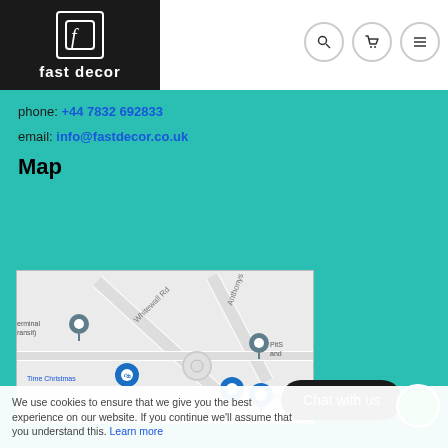[Figure (logo): Fast Decor logo — white stylized F in a rounded rectangle on black background, with text FAST Decor below]
[Figure (infographic): Navigation icons: search (magnifier), cart, and hamburger menu — three circular outlined buttons]
phone: +44 7832 692833
email: info@fastdecor.co.uk
Map
[Figure (map): Google Maps screenshot showing a road map with markers for Time Christmas, PitS and, TPS, Auto Windscreens, and other locations along Whitewall Rd and Anthonys Way with a roundabout]
Chat with us
We use cookies to ensure that we give you the best experience on our website. If you continue we'll assume that you understand this. Learn more